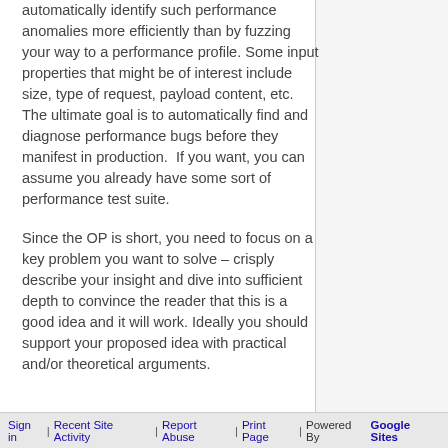automatically identify such performance anomalies more efficiently than by fuzzing your way to a performance profile. Some input properties that might be of interest include size, type of request, payload content, etc. The ultimate goal is to automatically find and diagnose performance bugs before they manifest in production.  If you want, you can assume you already have some sort of performance test suite.
Since the OP is short, you need to focus on a key problem you want to solve – crisply describe your insight and dive into sufficient depth to convince the reader that this is a good idea and it will work. Ideally you should support your proposed idea with practical and/or theoretical arguments.
Sign in | Recent Site Activity | Report Abuse | Print Page | Powered By  Google Sites